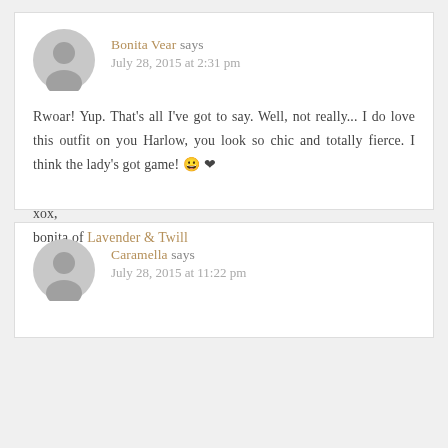Bonita Vear says
July 28, 2015 at 2:31 pm
Rwoar! Yup. That's all I've got to say. Well, not really... I do love this outfit on you Harlow, you look so chic and totally fierce. I think the lady's got game! 😀 ❤

xox,
bonita of Lavender & Twill
Caramella says
July 28, 2015 at 11:22 pm